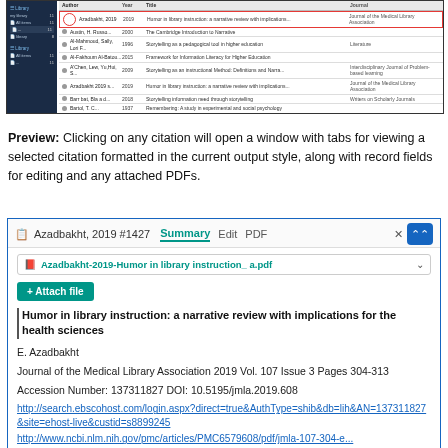[Figure (screenshot): Screenshot of a reference manager list showing multiple citations with author, year, title columns. One row is highlighted with a red circle indicator for Azadbakht 2019 entry. Left panel shows dark blue navigation sidebar.]
Preview: Clicking on any citation will open a window with tabs for viewing a selected citation formatted in the current output style, along with record fields for editing and any attached PDFs.
[Figure (screenshot): Citation preview window for Azadbakht, 2019 #1427 showing Summary, Edit, PDF tabs. Contains PDF attachment 'Azadbakht-2019-Humor in library instruction_ a.pdf', Attach file button, article title 'Humor in library instruction: a narrative review with implications for the health sciences', author E. Azadbakht, journal info, accession number, DOI, and URLs.]